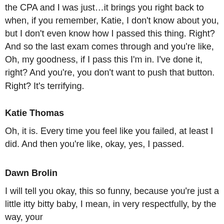the CPA and I was just…it brings you right back to when, if you remember, Katie, I don't know about you, but I don't even know how I passed this thing. Right? And so the last exam comes through and you're like, Oh, my goodness, if I pass this I'm in. I've done it, right? And you're, you don't want to push that button. Right? It's terrifying.
Katie Thomas
Oh, it is. Every time you feel like you failed, at least I did. And then you're like, okay, yes, I passed.
Dawn Brolin
I will tell you okay, this so funny, because you're just a little itty bitty baby, I mean, in very respectfully, by the way, your